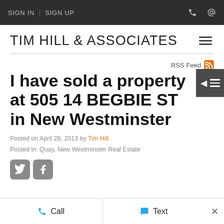SIGN IN  |  SIGN UP
TIM HILL & ASSOCIATES
RSS Feed
I have sold a property at 505 14 BEGBIE ST in New Westminster
Posted on April 26, 2013 by Tim Hill
Posted in: Quay, New Westminster Real Estate
Call   Text